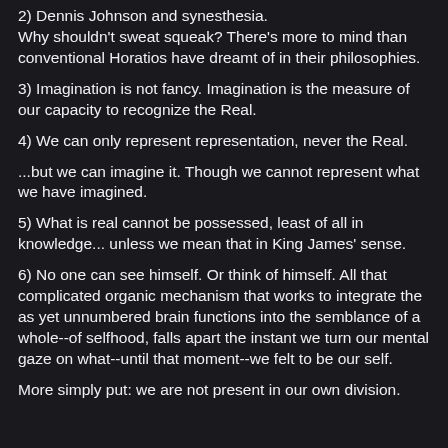2) Dennis Johnson and synesthesia. Why shouldn't sweat squeak? There's more to mind than conventional Horatios have dreamt of in their philosophies.
3) Imagination is not fancy. Imagination is the measure of our capacity to recognize the Real.
4) We can only represent representation, never the Real.
...but we can imagine it. Though we cannot represent what we have imagined.
5) What is real cannot be possessed, least of all in knowledge... unless we mean that in King James' sense.
6) No one can see himself. Or think of himself. All that complicated organic mechanism that works to integrate the as yet unnumbered brain functions into the semblance of a whole--of selfhood, falls apart the instant we turn our mental gaze on what--until that moment--we felt to be our self.
More simply put: we are not present in our own division.